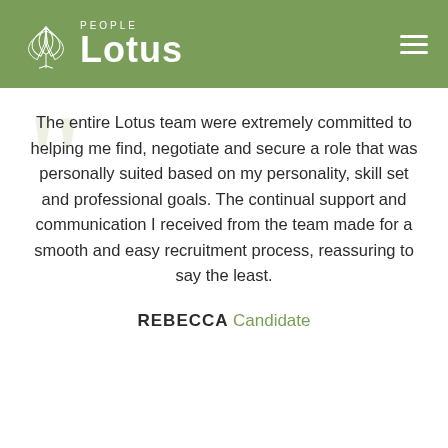People Lotus
The entire Lotus team were extremely committed to helping me find, negotiate and secure a role that was personally suited based on my personality, skill set and professional goals. The continual support and communication I received from the team made for a smooth and easy recruitment process, reassuring to say the least.
REBECCA Candidate